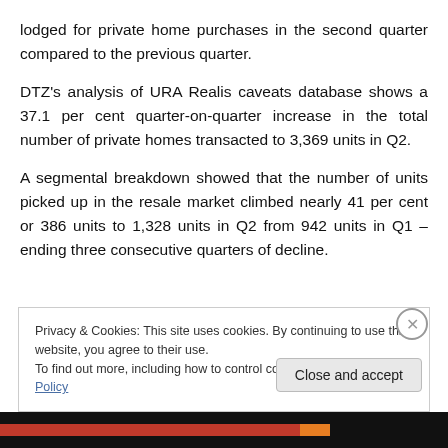lodged for private home purchases in the second quarter compared to the previous quarter.
DTZ's analysis of URA Realis caveats database shows a 37.1 per cent quarter-on-quarter increase in the total number of private homes transacted to 3,369 units in Q2.
A segmental breakdown showed that the number of units picked up in the resale market climbed nearly 41 per cent or 386 units to 1,328 units in Q2 from 942 units in Q1 – ending three consecutive quarters of decline.
Privacy & Cookies: This site uses cookies. By continuing to use this website, you agree to their use. To find out more, including how to control cookies, see here: Cookie Policy